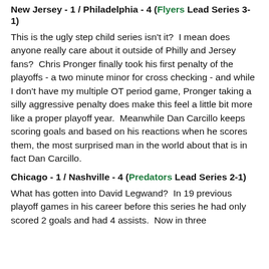New Jersey - 1 / Philadelphia - 4 (Flyers Lead Series 3-1)
This is the ugly step child series isn't it?  I mean does anyone really care about it outside of Philly and Jersey fans?  Chris Pronger finally took his first penalty of the playoffs - a two minute minor for cross checking - and while I don't have my multiple OT period game, Pronger taking a silly aggressive penalty does make this feel a little bit more like a proper playoff year.  Meanwhile Dan Carcillo keeps scoring goals and based on his reactions when he scores them, the most surprised man in the world about that is in fact Dan Carcillo.
Chicago - 1 / Nashville - 4 (Predators Lead Series 2-1)
What has gotten into David Legwand?  In 19 previous playoff games in his career before this series he had only scored 2 goals and had 4 assists.  Now in three